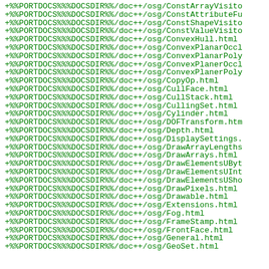+%%PORTDOCS%%%DOCSDIR%%/doc++/osg/ConstArrayVisitor
+%%PORTDOCS%%%DOCSDIR%%/doc++/osg/ConstAttributeFu
+%%PORTDOCS%%%DOCSDIR%%/doc++/osg/ConstShapeVisitor
+%%PORTDOCS%%%DOCSDIR%%/doc++/osg/ConstValueVisitor
+%%PORTDOCS%%%DOCSDIR%%/doc++/osg/ConvexHull.html
+%%PORTDOCS%%%DOCSDIR%%/doc++/osg/ConvexPlanarOccl
+%%PORTDOCS%%%DOCSDIR%%/doc++/osg/ConvexPlanarPoly
+%%PORTDOCS%%%DOCSDIR%%/doc++/osg/ConvexPlanerOccl
+%%PORTDOCS%%%DOCSDIR%%/doc++/osg/ConvexPlanerPoly
+%%PORTDOCS%%%DOCSDIR%%/doc++/osg/CopyOp.html
+%%PORTDOCS%%%DOCSDIR%%/doc++/osg/CullFace.html
+%%PORTDOCS%%%DOCSDIR%%/doc++/osg/CullStack.html
+%%PORTDOCS%%%DOCSDIR%%/doc++/osg/CullingSet.html
+%%PORTDOCS%%%DOCSDIR%%/doc++/osg/Cylinder.html
+%%PORTDOCS%%%DOCSDIR%%/doc++/osg/DOFTransform.htm
+%%PORTDOCS%%%DOCSDIR%%/doc++/osg/Depth.html
+%%PORTDOCS%%%DOCSDIR%%/doc++/osg/DisplaySettings.
+%%PORTDOCS%%%DOCSDIR%%/doc++/osg/DrawArrayLengths
+%%PORTDOCS%%%DOCSDIR%%/doc++/osg/DrawArrays.html
+%%PORTDOCS%%%DOCSDIR%%/doc++/osg/DrawElementsUByt
+%%PORTDOCS%%%DOCSDIR%%/doc++/osg/DrawElementsUInt
+%%PORTDOCS%%%DOCSDIR%%/doc++/osg/DrawElementsUSho
+%%PORTDOCS%%%DOCSDIR%%/doc++/osg/DrawPixels.html
+%%PORTDOCS%%%DOCSDIR%%/doc++/osg/Drawable.html
+%%PORTDOCS%%%DOCSDIR%%/doc++/osg/Extensions.html
+%%PORTDOCS%%%DOCSDIR%%/doc++/osg/Fog.html
+%%PORTDOCS%%%DOCSDIR%%/doc++/osg/FrameStamp.html
+%%PORTDOCS%%%DOCSDIR%%/doc++/osg/FrontFace.html
+%%PORTDOCS%%%DOCSDIR%%/doc++/osg/General.html
+%%PORTDOCS%%%DOCSDIR%%/doc++/osg/GeoSet.html